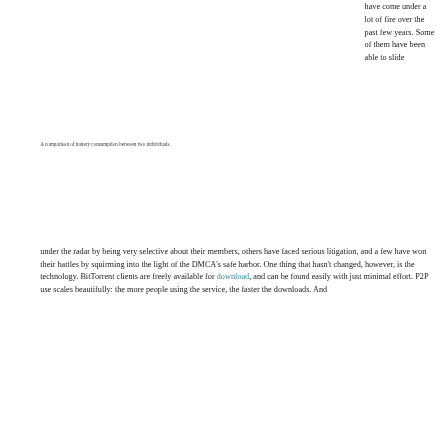have come under a lot of fire over the past few years. Some of them have been able to slide
A comparison of battery consumption between two individuals.
under the radar by being very selective about their members, others have faced serious litigation, and a few have won their battles by squirming into the light of the DMCA's safe harbor. One thing that hasn't changed, however, is the technology. BitTorrent clients are freely available for download, and can be found easily with just minimal effort. P2P use scales beautifully: the more people using the service, the faster the downloads. And